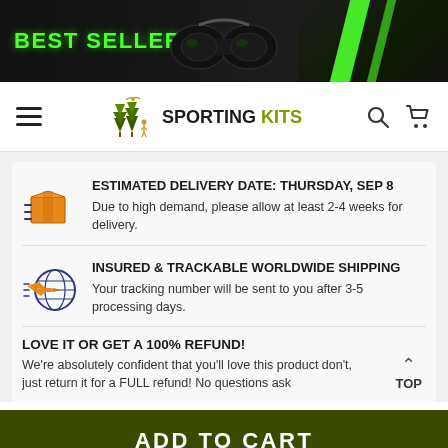[Figure (screenshot): Best Sellers banner with binoculars image, green text on dark background with green accent stripe]
[Figure (screenshot): Sporting Kits website navigation bar with hamburger menu, logo, search and cart icons]
ESTIMATED DELIVERY DATE: THURSDAY, SEP 8
Due to high demand, please allow at least 2-4 weeks for delivery.
INSURED & TRACKABLE WORLDWIDE SHIPPING
Your tracking number will be sent to you after 3-5 processing days.
LOVE IT OR GET A 100% REFUND!
We're absolutely confident that you'll love this product don't, just return it for a FULL refund! No questions ask
ADD TO CART